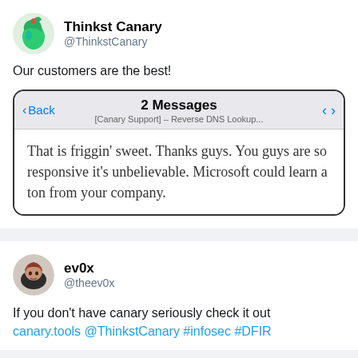[Figure (photo): Thinkst Canary Twitter avatar - green bird logo with red dot]
Thinkst Canary
@ThinkstCanary
Our customers are the best!
[Figure (screenshot): iOS Mail app screenshot showing '2 Messages' header with Back button, subject '[Canary Support] - Reverse DNS Lookup...' and navigation arrows. Body text: 'That is friggin’ sweet. Thanks guys. You guys are so responsive it’s unbelievable. Microsoft could learn a ton from your company.']
[Figure (photo): ev0x Twitter avatar - illustrated woman with red hair]
ev0x
@theev0x
If you don't have canary seriously check it out canary.tools @ThinkstCanary #infosec #DFIR